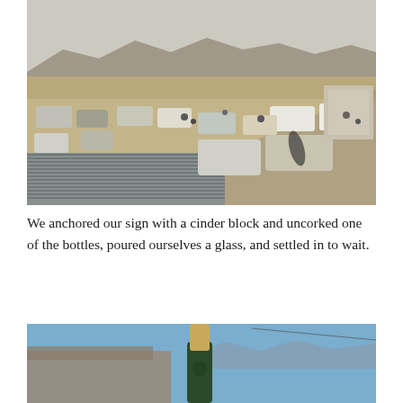[Figure (photo): Aerial/elevated view of a desert marketplace or gathering area with many cars parked on dry dirt ground, people milling about, mountains and scrubland in the background, corrugated metal roofing in the foreground.]
We anchored our sign with a cinder block and uncorked one of the bottles, poured ourselves a glass, and settled in to wait.
[Figure (photo): Close-up photo of a wine bottle neck with cork partially removed or resting on top, against a blue sky background with a blurred stone wall and mountains in the distance.]